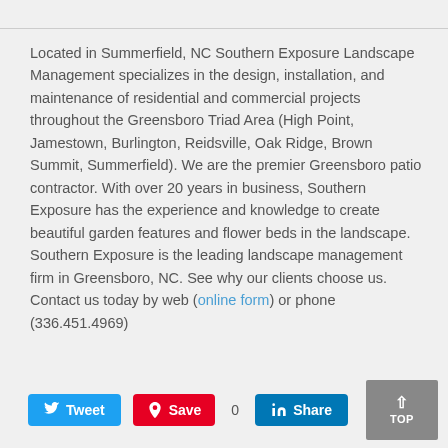Located in Summerfield, NC Southern Exposure Landscape Management specializes in the design, installation, and maintenance of residential and commercial projects throughout the Greensboro Triad Area (High Point, Jamestown, Burlington, Reidsville, Oak Ridge, Brown Summit, Summerfield). We are the premier Greensboro patio contractor. With over 20 years in business, Southern Exposure has the experience and knowledge to create beautiful garden features and flower beds in the landscape. Southern Exposure is the leading landscape management firm in Greensboro, NC. See why our clients choose us. Contact us today by web (online form) or phone (336.451.4969)
Tweet | Save | 0 | Share | TOP